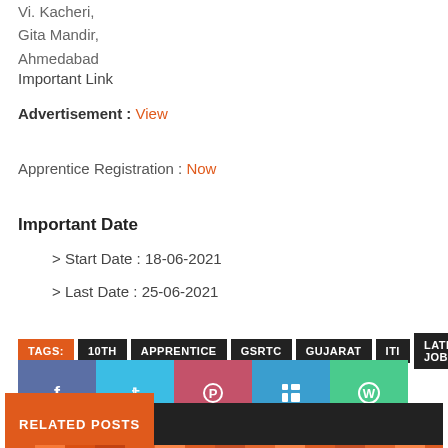Vi. Kacheri,
Gita Mandir,
Ahmedabad
Important Link
Advertisement : View
Apprentice Registration : Now
Important Date
> Start Date : 18-06-2021
> Last Date : 25-06-2021
TAGS: 10TH APPRENTICE GSRTC GUJARAT ITI LATEST JOB
[Figure (infographic): Social sharing buttons: Facebook (blue-grey), Twitter (blue), Pinterest (red-pink), LinkedIn (blue), WhatsApp (green)]
RELATED POSTS
[Figure (photo): Bottom banner image in orange/dark tones]